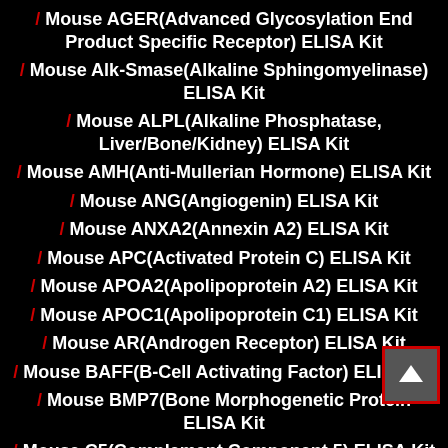/ Mouse AGER(Advanced Glycosylation End Product Specific Receptor) ELISA Kit
/ Mouse Alk-Smase(Alkaline Sphingomyelinase) ELISA Kit
/ Mouse ALPL(Alkaline Phosphatase, Liver/Bone/Kidney) ELISA Kit
/ Mouse AMH(Anti-Mullerian Hormone) ELISA Kit
/ Mouse ANG(Angiogenin) ELISA Kit
/ Mouse ANXA2(Annexin A2) ELISA Kit
/ Mouse APC(Activated Protein C) ELISA Kit
/ Mouse APOA2(Apolipoprotein A2) ELISA Kit
/ Mouse APOC1(Apolipoprotein C1) ELISA Kit
/ Mouse AR(Androgen Receptor) ELISA Kit
/ Mouse BAFF(B-Cell Activating Factor) ELISA Kit
/ Mouse BMP7(Bone Morphogenetic Protein 7) ELISA Kit
/ Mouse C5(Complement Component 5) ELISA Kit
/ Mouse CAPN1(Calpain 1, Large Subunit) ELISA Kit